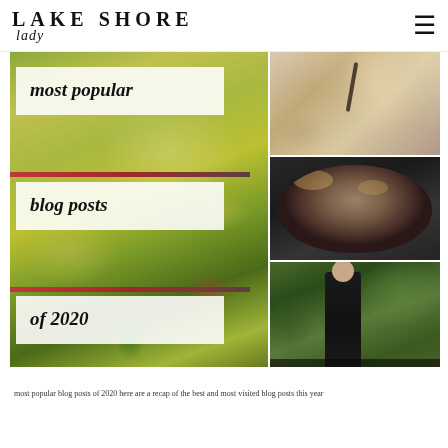LAKE SHORE lady
[Figure (photo): Collage of food and lifestyle photos with overlay text reading 'most popular blog posts of 2020'. Left: close-up of a green vegetable/pesto dish. Top right: person pouring sauce. Middle right: bowl with roasted vegetables and feta. Bottom right: woman walking in black outfit on a city path.]
most popular blog posts of 2020
most popular blog posts of 2020 - a recap of the most visited and shared blog posts this year